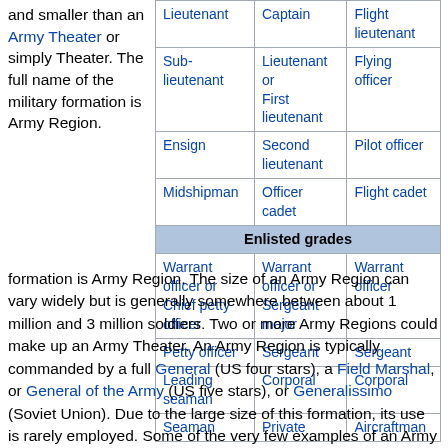and smaller than an Army Theater or simply Theater. The full name of the military formation is Army Region.
| Navy/Marines | Army | Air Force |
| --- | --- | --- |
| Lieutenant | Captain | Flight lieutenant |
| Sub-lieutenant | Lieutenant or First lieutenant | Flying officer |
| Ensign | Second lieutenant | Pilot officer |
| Midshipman | Officer cadet | Flight cadet |
| Enlisted grades |  |  |
| Warrant officer or Chief petty officer | Warrant officer or Sergeant major | Warrant officer |
| Petty officer | Sergeant | Sergeant |
| Leading seaman | Corporal | Corporal |
| Seaman | Private | Aircraftman |
The size of an Army Region can vary widely but is generally somewhere between about 1 million and 3 million soldiers. Two or more Army Regions could make up an Army Theater. An Army Region is typically commanded by a full General (US four stars), a Field Marshal, or General of the Army (US five stars), or Generalissimo (Soviet Union). Due to the large size of this formation, its use is rarely employed. Some of the very few examples of an Army Region are each of the Eastern, Western, and southern (mostly in Italy) fronts in Europe during World War II. The military map unit symbol for this echelon of formation (see Military